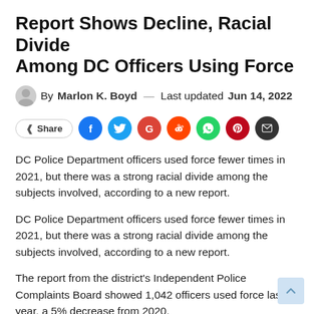Report Shows Decline, Racial Divide Among DC Officers Using Force
By Marlon K. Boyd — Last updated Jun 14, 2022
[Figure (other): Social sharing buttons row: Share button, Facebook, Twitter, Google, Reddit, WhatsApp, Pinterest, Email icons]
DC Police Department officers used force fewer times in 2021, but there was a strong racial divide among the subjects involved, according to a new report.
DC Police Department officers used force fewer times in 2021, but there was a strong racial divide among the subjects involved, according to a new report.
The report from the district's Independent Police Complaints Board showed 1,042 officers used force last year, a 5% decrease from 2020.